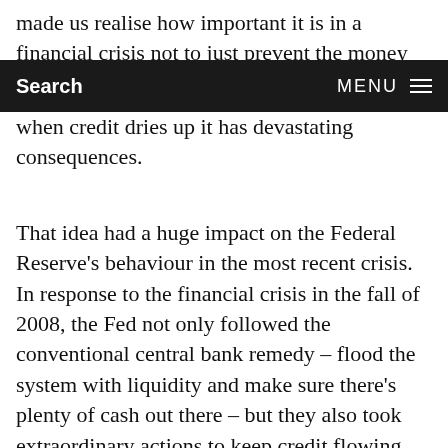made us realise how important it is in a financial crisis not to just prevent the money supply from falling, but also to keep credit flowing –
Search   MENU
when credit dries up it has devastating consequences.
That idea had a huge impact on the Federal Reserve's behaviour in the most recent crisis. In response to the financial crisis in the fall of 2008, the Fed not only followed the conventional central bank remedy – flood the system with liquidity and make sure there's plenty of cash out there – but they also took extraordinary actions to keep credit flowing. When they saw credit markets were not functioning, the Fed was incredibly creative in finding ways to make sure that firms could get credit. For example, many businesses issue commercial paper to cover payroll and finance day-